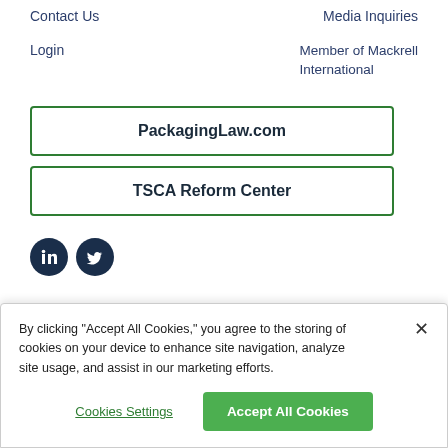Contact Us
Media Inquiries
Login
Member of Mackrell International
PackagingLaw.com
TSCA Reform Center
[Figure (illustration): LinkedIn and Twitter social media icon circles (dark navy blue)]
By clicking “Accept All Cookies,” you agree to the storing of cookies on your device to enhance site navigation, analyze site usage, and assist in our marketing efforts.
Cookies Settings
Accept All Cookies